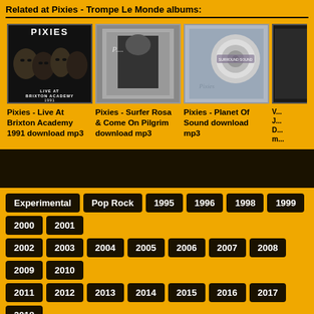Related at Pixies - Trompe Le Monde albums:
[Figure (photo): Album cover: Pixies - Live At Brixton Academy 1991, dark photo of band members]
Pixies - Live At Brixton Academy 1991 download mp3
[Figure (photo): Album cover: Pixies - Surfer Rosa & Come On Pilgrim, dark grayscale cover]
Pixies - Surfer Rosa & Come On Pilgrim download mp3
[Figure (photo): Album cover: Pixies - Planet Of Sound, spiral/swirl design]
Pixies - Planet Of Sound download mp3
[Figure (photo): Partial album cover (cropped at right edge)]
V... J... D... m...
Experimental
Pop Rock
1995
1996
1998
1999
2000
2001
2002
2003
2004
2005
2006
2007
2008
2009
2010
2011
2012
2013
2014
2015
2016
2017
2018
Alternative Rock
Europe
France
Germany
House
Italy